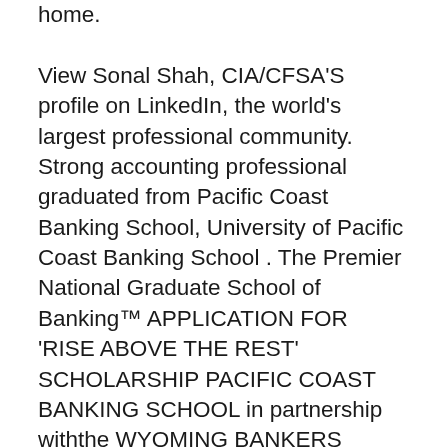home. View Sonal Shah, CIA/CFSA'S profile on LinkedIn, the world's largest professional community. Strong accounting professional graduated from Pacific Coast Banking School, University of Pacific Coast Banking School . The Premier National Graduate School of Banking™ APPLICATION FOR 'RISE ABOVE THE REST' SCHOLARSHIP PACIFIC COAST BANKING SCHOOL in partnership withthe WYOMING BANKERS ASSOCIATION offers a First Year Student Scholarship for Pacific Coast Banking School . 21st- September 2, 2016 PERSONAL DATA (Please Type or